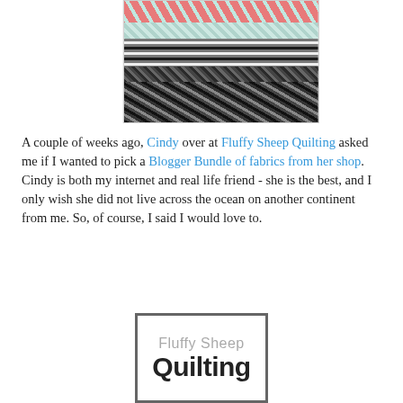[Figure (photo): Stacked fabric bolts showing various patterns: coral/teal chevron/herringbone on top, light lattice, black and white hexagon geometric, dark gray crosshatch weave, and black textured fabric at the bottom.]
A couple of weeks ago, Cindy over at Fluffy Sheep Quilting asked me if I wanted to pick a Blogger Bundle of fabrics from her shop. Cindy is both my internet and real life friend - she is the best, and I only wish she did not live across the ocean on another continent from me. So, of course, I said I would love to.
[Figure (logo): Fluffy Sheep Quilting logo: gray text 'Fluffy Sheep' above bold black 'Quilting' in a thick-bordered gray rectangle.]